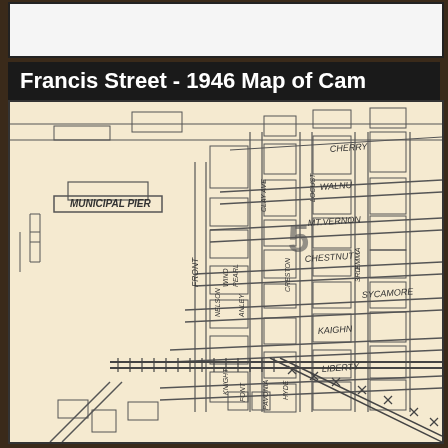Francis Street - 1946 Map of Cam
[Figure (map): 1946 map of Camden NJ showing street grid with labeled streets including Municipal Pier, Cherry, Walnut, Mt. Vernon, Chestnut, Sycamore, Kaighn, Liberty streets, and numbered ward '5', with railroad tracks crossing diagonally at bottom]